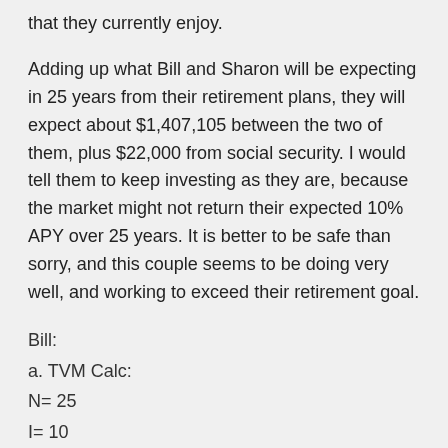that they currently enjoy.
Adding up what Bill and Sharon will be expecting in 25 years from their retirement plans, they will expect about $1,407,105 between the two of them, plus $22,000 from social security. I would tell them to keep investing as they are, because the market might not return their expected 10% APY over 25 years. It is better to be safe than sorry, and this couple seems to be doing very well, and working to exceed their retirement goal.
Bill:
a. TVM Calc:
N= 25
I= 10
PV= -27000
PMT= -5500 (see below calc)
FV= $833,445